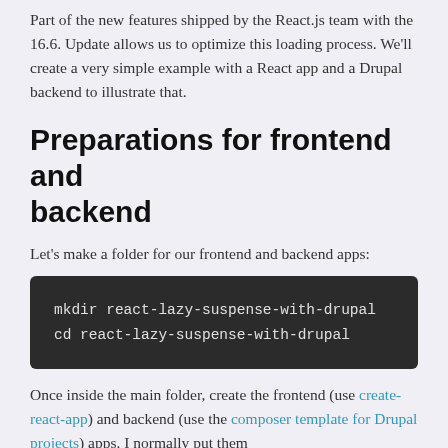Part of the new features shipped by the React.js team with the 16.6. Update allows us to optimize this loading process. We'll create a very simple example with a React app and a Drupal backend to illustrate that.
Preparations for frontend and backend
Let's make a folder for our frontend and backend apps:
[Figure (screenshot): Dark code block showing terminal commands: mkdir react-lazy-suspense-with-drupal and cd react-lazy-suspense-with-drupal]
Once inside the main folder, create the frontend (use create-react-app) and backend (use the composer template for Drupal projects) apps. I normally put them